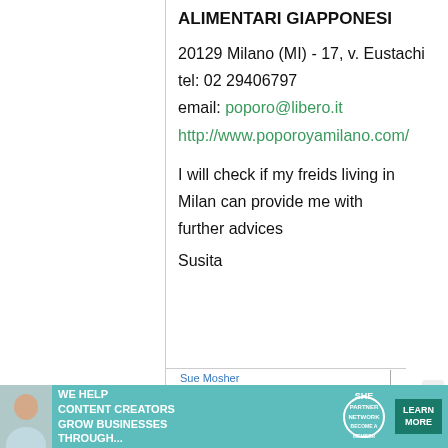ALIMENTARI GIAPPONESI
20129 Milano (MI) - 17, v. Eustachi
tel: 02 29406797
email: poporo@libero.it
http://www.poporoyamilano.com/
I will check if my freids living in Milan can provide me with further advices
Susita
Sue Mosher
[Figure (infographic): Teal advertisement banner: 'WE HELP CONTENT CREATORS GROW BUSINESSES THROUGH...' with SHE Partner Network logo and 'LEARN MORE' button]